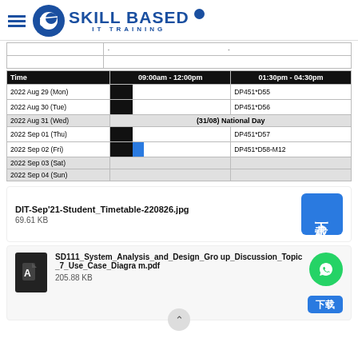SKILL BASED IT TRAINING
| Time | 09:00am - 12:00pm | 01:30pm - 04:30pm |
| --- | --- | --- |
| 2022 Aug 29 (Mon) |  | DP451*D55 |
| 2022 Aug 30 (Tue) |  | DP451*D56 |
| 2022 Aug 31 (Wed) | (31/08) National Day |  |
| 2022 Sep 01 (Thu) |  | DP451*D57 |
| 2022 Sep 02 (Fri) |  | DP451*D58-M12 |
| 2022 Sep 03 (Sat) |  |  |
| 2022 Sep 04 (Sun) |  |  |
DIT-Sep'21-Student_Timetable-220826.jpg
69.61 KB
SD111_System_Analysis_and_Design_Group_Discussion_Topic_7_Use_Case_Diagram.pdf
205.88 KB